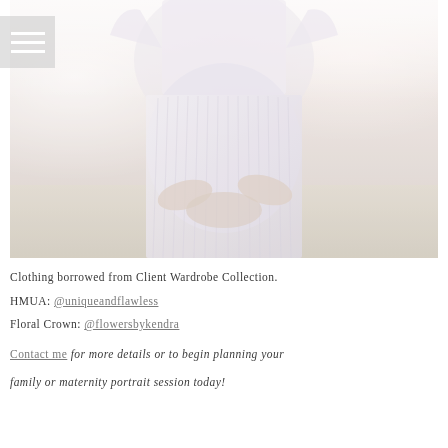[Figure (photo): A pregnant woman in a flowing white/light grey pleated dress standing in a field, holding her baby bump with both hands, photographed from the torso down. Soft, bright, airy photography style.]
Clothing borrowed from Client Wardrobe Collection.
HMUA: @uniqueandflawless
Floral Crown: @flowersbykendra
Contact me for more details or to begin planning your family or maternity portrait session today!